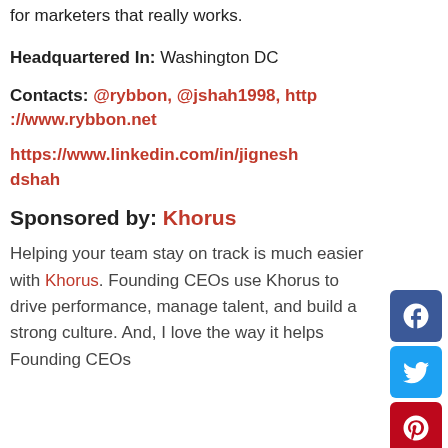for marketers that really works.
Headquartered In: Washington DC
Contacts: @rybbon, @jshah1998, http://www.rybbon.net
https://www.linkedin.com/in/jigneshdshah
Sponsored by: Khorus
Helping your team stay on track is much easier with Khorus. Founding CEOs use Khorus to drive performance, manage talent, and build a strong culture. And, I love the way it helps Founding CEOs
[Figure (infographic): Social media sharing buttons: Facebook (blue), Twitter (light blue), Pinterest (red), LinkedIn (blue)]